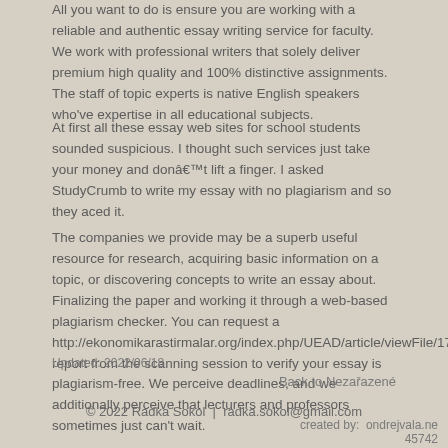All you want to do is ensure you are working with a reliable and authentic essay writing service for faculty. We work with professional writers that solely deliver premium high quality and 100% distinctive assignments. The staff of topic experts is native English speakers who've expertise in all educational subjects.
At first all these essay web sites for school students sounded suspicious. I thought such services just take your money and donât lift a finger. I asked StudyCrumb to write my essay with no plagiarism and so they aced it.
The companies we provide may be a superb useful resource for research, acquiring basic information on a topic, or discovering concepts to write an essay about. Finalizing the paper and working it through a web-based plagiarism checker. You can request a http://ekonomikarastirmalar.org/index.php/UEAD/article/viewFile/174/102 report from the scanning session to verify your essay is plagiarism-free. We perceive deadlines, and we additionally perceive that lecturers and professors sometimes just can’t wait.
Updated: 2022/06/18
Back to Nezařazené
© 2022 Radka Sokol  |  radka.sokol@gmail.com
created by:  ondrejvala.ne 45742